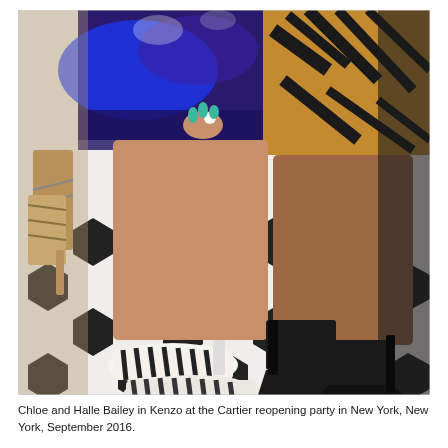[Figure (photo): Close-up photograph of two women's legs standing on a black and white hexagonal tile floor. The woman on the left wears a blue and purple patterned dress and zebra-print heels. The woman on the right wears a tiger-print skirt and black pointed-toe heels. A third person in strappy heels is partially visible on the far left.]
Chloe and Halle Bailey in Kenzo at the Cartier reopening party in New York, New York, September 2016.